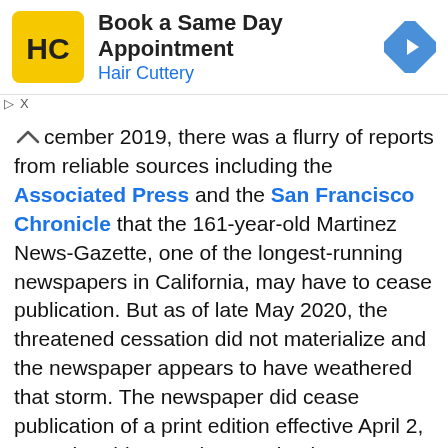[Figure (infographic): Advertisement banner for Hair Cuttery: 'Book a Same Day Appointment' with HC logo and navigation arrow icon]
cember 2019, there was a flurry of reports from reliable sources including the Associated Press and the San Francisco Chronicle that the 161-year-old Martinez News-Gazette, one of the longest-running newspapers in California, may have to cease publication. But as of late May 2020, the threatened cessation did not materialize and the newspaper appears to have weathered that storm. The newspaper did cease publication of a print edition effective April 2, 2020, but this was characterized as a temporary measure arising from a lack of advertising revenue. Since March 2020, this in turn arose as many local businesses were forced to suspended operations or even ceased to exist, when the